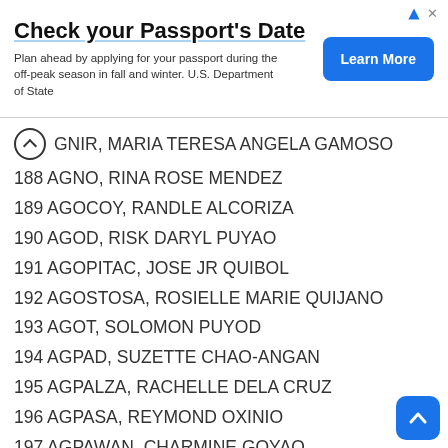[Figure (other): Advertisement banner: 'Check your Passport's Date' - Plan ahead by applying for your passport during the off-peak season in fall and winter. U.S. Department of State. With a 'Learn More' blue button.]
GNIR, MARIA TERESA ANGELA GAMOSO
188 AGNO, RINA ROSE MENDEZ
189 AGOCOY, RANDLE ALCORIZA
190 AGOD, RISK DARYL PUYAO
191 AGOPITAC, JOSE JR QUIBOL
192 AGOSTOSA, ROSIELLE MARIE QUIJANO
193 AGOT, SOLOMON PUYOD
194 AGPAD, SUZETTE CHAO-ANGAN
195 AGPALZA, RACHELLE DELA CRUZ
196 AGPASA, REYMOND OXINIO
197 AGPAWAN, CHARMINE GOYAO
198 AGSOY, GILBERT MENGUITO
199 AGTANG, LIEZEL RATON
200 AGUAN, CARL ADRIAN MAPUTE
Roll of Successful Examinees in the CRIMINOLOGIST LICENSURE EXAMINATION - All Regions